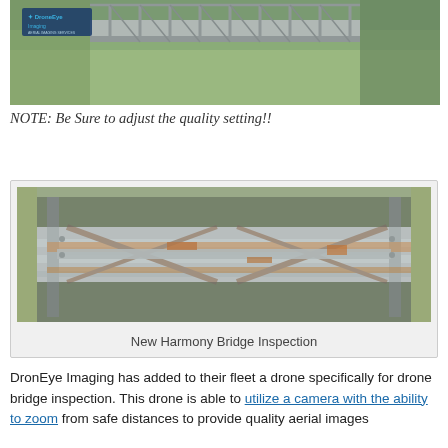[Figure (photo): Aerial drone photograph of a truss bridge over a river, with DroneEye Imaging logo in the upper left corner. View from above showing the bridge structure and greenish-brown water below.]
NOTE: Be Sure to adjust the quality setting!!
[Figure (photo): Close-up drone inspection photograph of the New Harmony Bridge showing rusted steel truss members, cross-bracing, and structural details from above.]
New Harmony Bridge Inspection
DronEye Imaging has added to their fleet a drone specifically for drone bridge inspection.  This drone is able to utilize a camera with the ability to zoom from safe distances to provide quality aerial images